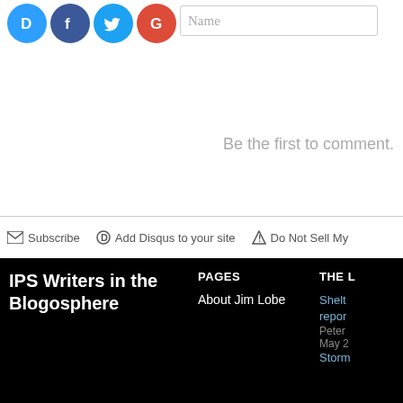[Figure (screenshot): Social login icons: Disqus (blue D), Facebook (blue f), Twitter (blue bird), Google (red G), followed by a Name input field]
Be the first to comment.
Subscribe   Add Disqus to your site   Do Not Sell My
IPS Writers in the Blogosphere
PAGES
About Jim Lobe
THE L
Shelt
repor
Peter
May 2
Storm